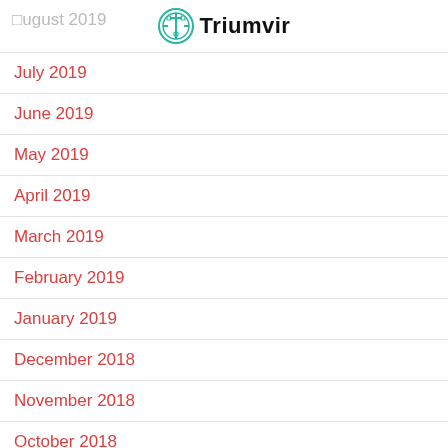August 2019 — Triumvir
July 2019
June 2019
May 2019
April 2019
March 2019
February 2019
January 2019
December 2018
November 2018
October 2018